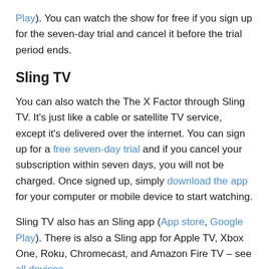Play). You can watch the show for free if you sign up for the seven-day trial and cancel it before the trial period ends.
Sling TV
You can also watch the The X Factor through Sling TV. It's just like a cable or satellite TV service, except it's delivered over the internet. You can sign up for a free seven-day trial and if you cancel your subscription within seven days, you will not be charged. Once signed up, simply download the app for your computer or mobile device to start watching.
Sling TV also has an Sling app (App store, Google Play). There is also a Sling app for Apple TV, Xbox One, Roku, Chromecast, and Amazon Fire TV – see all devices.
Subscribe for show updates